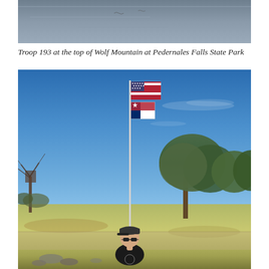[Figure (photo): Top portion of a photo showing a rocky or stone surface with a grayish-blue textured background, likely a mountaintop or rocky terrain scene.]
Troop 193 at the top of Wolf Mountain at Pedernales Falls State Park
[Figure (photo): A person wearing a black cap and black shirt with sunglasses stands in front of a tall flagpole flying the American flag and Texas flag. The background shows a blue sky, trees, and an open grassy area, likely at a park or campground.]